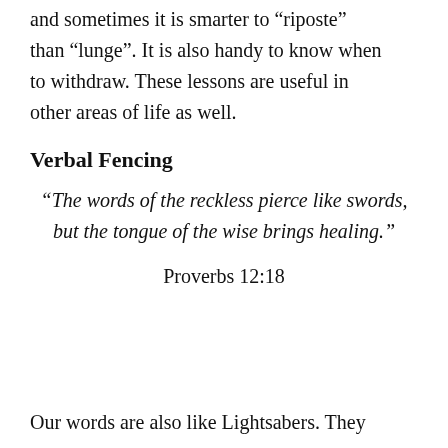and sometimes it is smarter to “riposte” than “lunge”. It is also handy to know when to withdraw. These lessons are useful in other areas of life as well.
Verbal Fencing
“The words of the reckless pierce like swords, but the tongue of the wise brings healing.”
Proverbs 12:18
Our words are also like Lightsabers. They